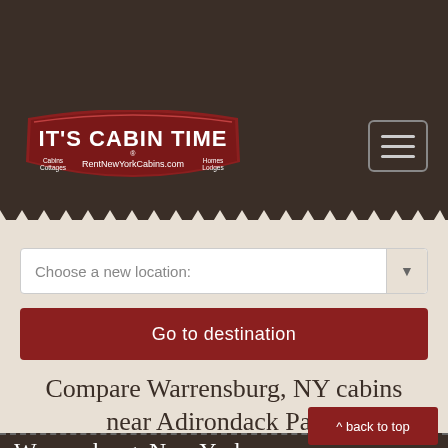[Figure (logo): It's Cabin Time logo with red badge shape, text 'IT'S CABIN TIME', subtitle 'RentNewYorkCabins.com', small text 'Cabins Cottages' and 'Homes Lodges']
[Figure (other): Hamburger menu button (three horizontal lines) in a rounded rectangle border]
Choose a new location:
Go to destination
Compare Warrensburg, NY cabins near Adirondack Park!
Warrensburg, New York c
^ back to top